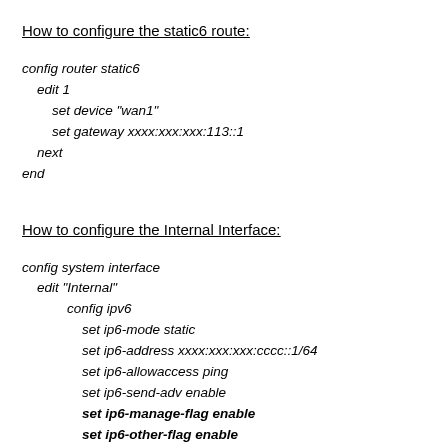How to configure the static6 route:
config router static6
    edit 1
        set device "wan1"
        set gateway xxxx:xxx:xxx:113::1
    next
end
How to configure the Internal Interface:
config system interface
    edit "Internal"
            config ipv6
                set ip6-mode static
                set ip6-address xxxx:xxx:xxx:cccc::1/64
                set ip6-allowaccess ping
                set ip6-send-adv enable
                set ip6-manage-flag enable
                set ip6-other-flag enable